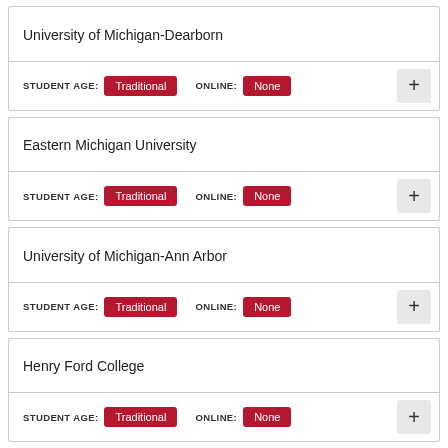University of Michigan-Dearborn
STUDENT AGE: Traditional   ONLINE: None
Eastern Michigan University
STUDENT AGE: Traditional   ONLINE: None
University of Michigan-Ann Arbor
STUDENT AGE: Traditional   ONLINE: None
Henry Ford College
STUDENT AGE: Traditional   ONLINE: None